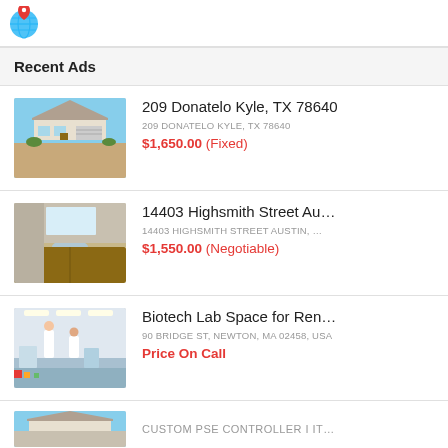[Figure (logo): Globe icon with location pin]
Recent Ads
[Figure (photo): Photo of a house exterior, single-story, with brown dirt in foreground]
209 Donatelo Kyle, TX 78640
209 DONATELO KYLE, TX 78640
$1,650.00 (Fixed)
[Figure (photo): Photo of a bathroom counter/vanity with sink]
14403 Highsmith Street Au...
14403 HIGHSMITH STREET AUSTIN, ...
$1,550.00 (Negotiable)
[Figure (photo): Photo of a biotech lab interior with workers in white coats]
Biotech Lab Space for Ren...
90 BRIDGE ST, NEWTON, MA 02458, USA
Price On Call
[Figure (photo): Partial photo of a house, partially cut off at bottom]
CUSTOM PSE CONTROLLER I IT...